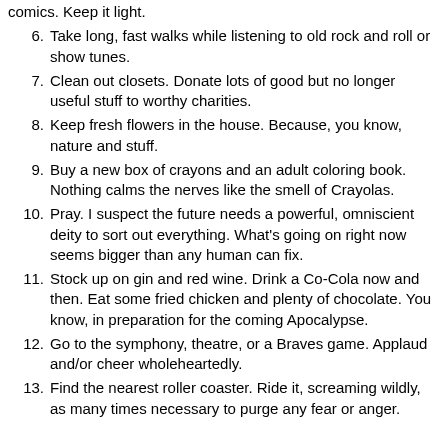comics. Keep it light.
6. Take long, fast walks while listening to old rock and roll or show tunes.
7. Clean out closets. Donate lots of good but no longer useful stuff to worthy charities.
8. Keep fresh flowers in the house. Because, you know, nature and stuff.
9. Buy a new box of crayons and an adult coloring book. Nothing calms the nerves like the smell of Crayolas.
10. Pray. I suspect the future needs a powerful, omniscient deity to sort out everything. What's going on right now seems bigger than any human can fix.
11. Stock up on gin and red wine. Drink a Co-Cola now and then. Eat some fried chicken and plenty of chocolate. You know, in preparation for the coming Apocalypse.
12. Go to the symphony, theatre, or a Braves game. Applaud and/or cheer wholeheartedly.
13. Find the nearest roller coaster. Ride it, screaming wildly, as many times necessary to purge any fear or anger.